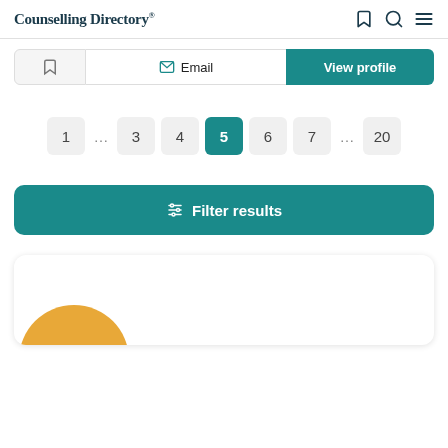Counselling Directory
[Figure (screenshot): Action buttons row with bookmark, email, and view profile buttons]
[Figure (screenshot): Pagination control showing pages 1 ... 3 4 5 6 7 ... 20 with page 5 active]
[Figure (screenshot): Filter results button in teal]
[Figure (screenshot): Profile card with amber/golden circular avatar placeholder]